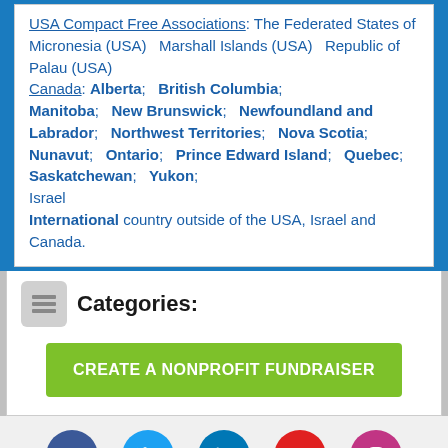USA Compact Free Associations: The Federated States of Micronesia (USA)  Marshall Islands (USA)  Republic of Palau (USA)
Canada: Alberta;  British Columbia; Manitoba; New Brunswick; Newfoundland and Labrador; Northwest Territories; Nova Scotia; Nunavut; Ontario; Prince Edward Island; Quebec; Saskatchewan; Yukon;
Israel
International country outside of the USA, Israel and Canada.
Categories:
[Figure (screenshot): Green button labeled CREATE A NONPROFIT FUNDRAISER]
Social media icons: Facebook, Twitter, LinkedIn, YouTube, Instagram